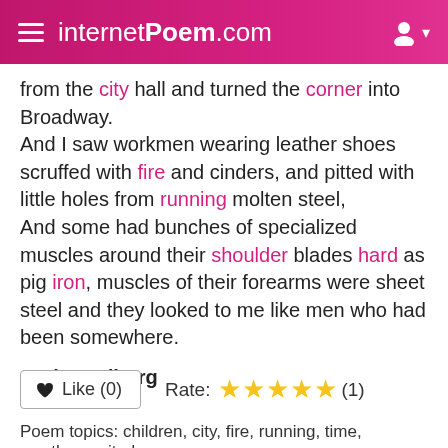internetPoem.com
from the city hall and turned the corner into Broadway.
And I saw workmen wearing leather shoes scruffed with fire and cinders, and pitted with little holes from running molten steel,
And some had bunches of specialized muscles around their shoulder blades hard as pig iron, muscles of their forearms were sheet steel and they looked to me like men who had been somewhere.
Carl Sandburg
♥ Like (0)   Rate: ★★★★★ (1)
Poem topics: children, city, fire, running, time, weather, united,